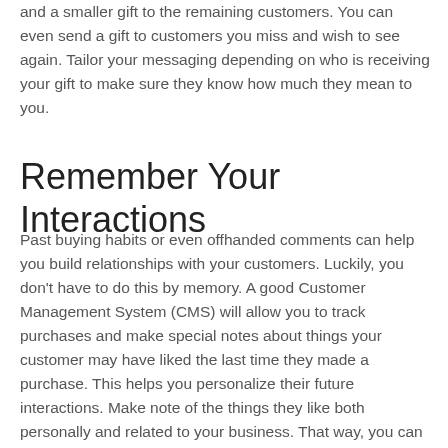and a smaller gift to the remaining customers. You can even send a gift to customers you miss and wish to see again. Tailor your messaging depending on who is receiving your gift to make sure they know how much they mean to you.
Remember Your Interactions
Past buying habits or even offhanded comments can help you build relationships with your customers. Luckily, you don't have to do this by memory. A good Customer Management System (CMS) will allow you to track purchases and make special notes about things your customer may have liked the last time they made a purchase. This helps you personalize their future interactions. Make note of the things they like both personally and related to your business. That way, you can